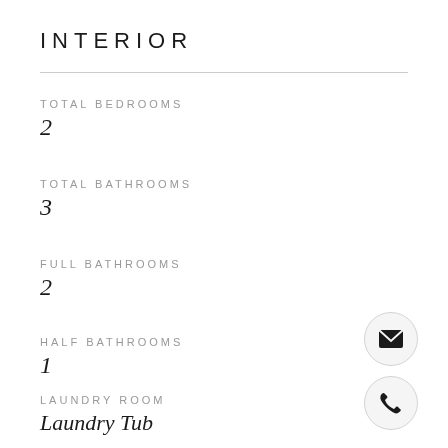INTERIOR
TOTAL BEDROOMS
2
TOTAL BATHROOMS
3
FULL BATHROOMS
2
HALF BATHROOMS
1
LAUNDRY ROOM
Laundry Tub
[Figure (illustration): Email envelope icon inside a light gray circle]
[Figure (illustration): Phone handset icon inside a light gray circle]